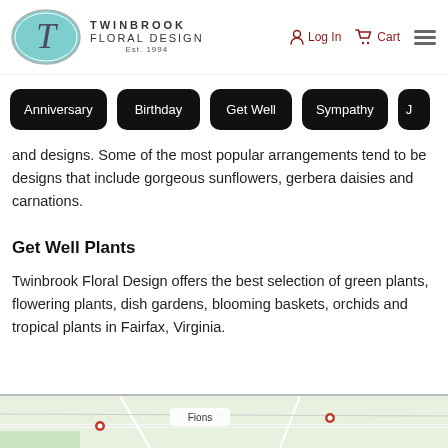[Figure (logo): Twinbrook Floral Design logo with teal oval containing cursive T, and business name text]
Log In  Cart
Anniversary
Birthday
Get Well
Sympathy
J
and designs. Some of the most popular arrangements tend to be designs that include gorgeous sunflowers, gerbera daisies and carnations.
Get Well Plants
Twinbrook Floral Design offers the best selection of green plants, flowering plants, dish gardens, blooming baskets, orchids and tropical plants in Fairfax, Virginia.
[Figure (map): Google Maps partial view showing Fairfax Virginia area with Fions label visible]